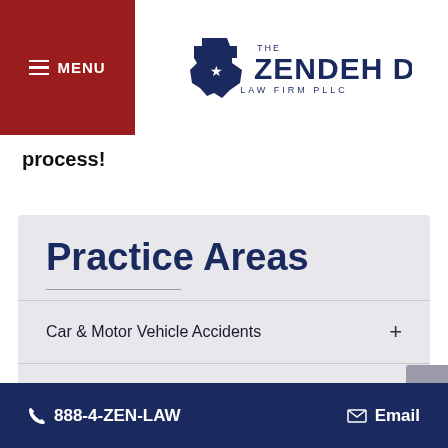MENU | The Zendeh Del Law Firm PLLC
process!
Practice Areas
Car & Motor Vehicle Accidents
Civil Litigation
Criminal Defense
888-4-ZEN-LAW  Email